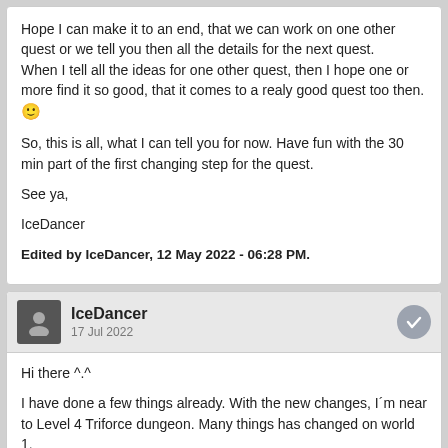Hope I can make it to an end, that we can work on one other quest or we tell you then all the details for the next quest.
When I tell all the ideas for one other quest, then I hope one or more find it so good, that it comes to a realy good quest too then. 🙂
So, this is all, what I can tell you for now. Have fun with the 30 min part of the first changing step for the quest.
See ya,
IceDancer
Edited by IceDancer, 12 May 2022 - 06:28 PM.
IceDancer
17 Jul 2022
Hi there ^.^
I have done a few things already. With the new changes, I´m near to Level 4 Triforce dungeon. Many things has changed on world 1.
When I´m done with this small things, the tester get again a new file, to try it out.